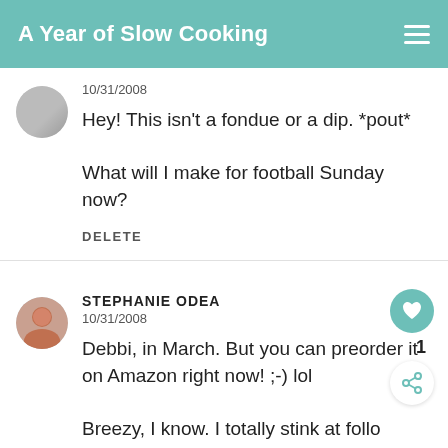A Year of Slow Cooking
10/31/2008
Hey! This isn't a fondue or a dip. *pout*

What will I make for football Sunday now?
DELETE
STEPHANIE ODEA
10/31/2008
Debbi, in March. But you can preorder it on Amazon right now! ;-) lol

Breezy, I know. I totally stink at following my own rules. I have stuff in the house for a milk chocolate marshmallow fondue, so I'll make